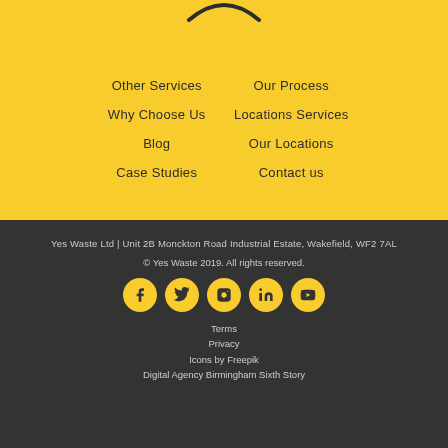[Figure (logo): Partial arc/logo shape at top of yellow section]
Other Services
Our Process
Why Choose Us
Locations Services
Blog
Our Locations
Case Studies
Contact us
Yes Waste Ltd | Unit 2B Monckton Road Industrial Estate, Wakefield, WF2 7AL
© Yes Waste 2019. All rights reserved.
[Figure (illustration): Social media icons: Facebook, Twitter, Instagram, LinkedIn, YouTube — yellow circles on dark background]
Terms
Privacy
Icons by Freepik
Digital Agency Birmingham Sixth Story